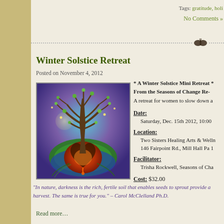Tags: gratitude, holi
No Comments »
Winter Solstice Retreat
Posted on November 4, 2012
[Figure (illustration): Colorful mystical tree of life illustration with glowing heart roots, blue/purple sky background and green circular base]
* A Winter Solstice Mini Retreat * From the Seasons of Change Re- A retreat for women to slow down a
Date: Saturday, Dec. 15th 2012, 10:00
Location: Two Sisters Healing Arts & Welln 146 Fairpoint Rd., Mill Hall Pa  1
Facilitator: Trisha Rockwell, Seasons of Cha
Cost: $32.00
“In nature, darkness is the rich, fertile soil that enables seeds to sprout provide a harvest.  The same is true for you.”  – Carol McClelland Ph.D.
Read more…